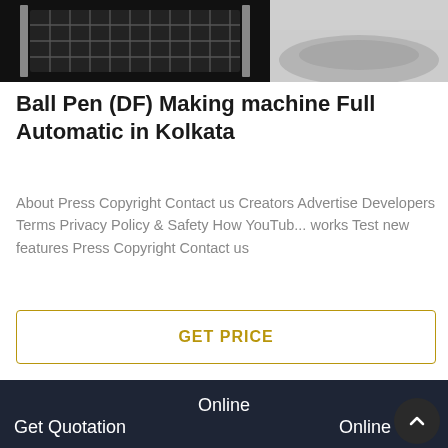[Figure (photo): Two product images at top: left shows a dark industrial grating/rack component; right shows a grey powder or material on a surface]
Ball Pen (DF) Making machine Full Automatic in Kolkata
About Press Copyright Contact us Creators Advertise Developers Terms Privacy Policy & Safety How YouTub... works Test new features Press Copyright Contact us
[Figure (other): GET PRICE button with gold/tan border and text]
[Figure (photo): Industrial machine in a factory/warehouse setting — large black hopper/funnel machine with red lid, grey industrial building interior]
Get Quotation   Online   Online Chat